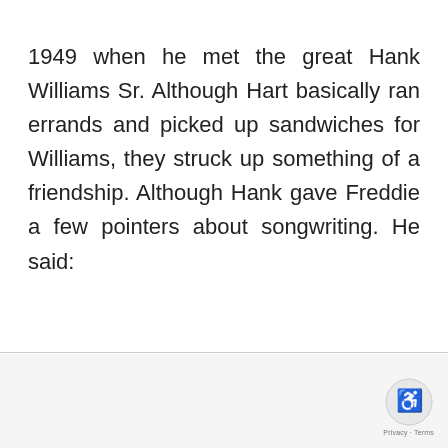1949 when he met the great Hank Williams Sr. Although Hart basically ran errands and picked up sandwiches for Williams, they struck up something of a friendship. Although Hank gave Freddie a few pointers about songwriting. He said:
Privacy · Terms